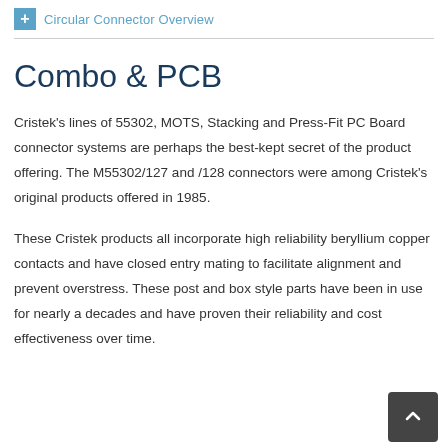Circular Connector Overview
Combo & PCB
Cristek's lines of 55302, MOTS, Stacking and Press-Fit PC Board connector systems are perhaps the best-kept secret of the product offering. The M55302/127 and /128 connectors were among Cristek's original products offered in 1985.
These Cristek products all incorporate high reliability beryllium copper contacts and have closed entry mating to facilitate alignment and prevent overstress. These post and box style parts have been in use for nearly a decades and have proven their reliability and cost effectiveness over time.